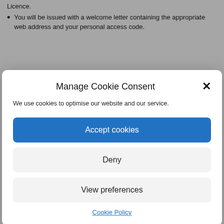Licence.
You will be issued with a welcome letter containing the appropriate web address and your personal access code.
Manage Cookie Consent
We use cookies to optimise our website and our service.
Accept cookies
Deny
View preferences
Cookie Policy
a repeat prescription and patients should see the Practice Nurse for this.
Hospital requests for change of medications